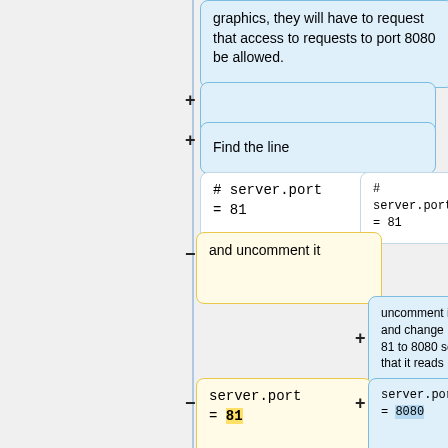graphics, they will have to request that access to requests to port 8080 be allowed.
+ (empty box)
+ Find the line
# server.port = 81
# server.port = 81
- and uncomment it
+ uncomment it and change 81 to 8080 so that it reads
- server.port = 81
+ server.port = 8080